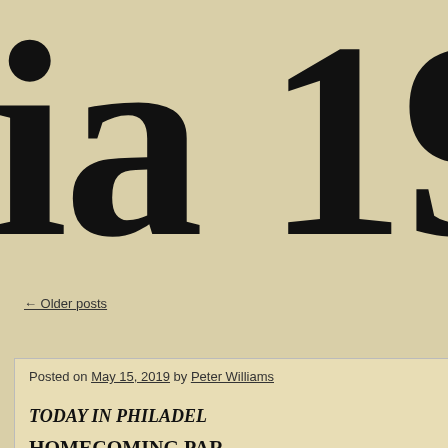ia 19
← Older posts
Posted on May 15, 2019 by Peter Williams
TODAY IN PHILADEL...
HOMECOMING PAR...
OVER 2 MILLI...